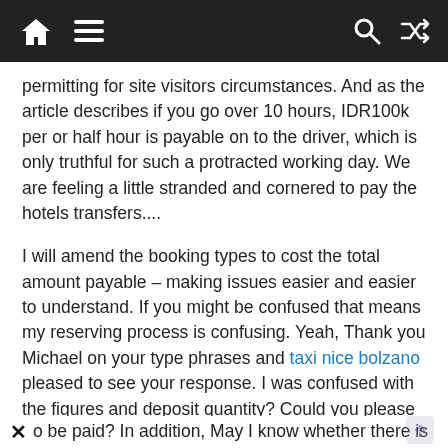Navigation bar with home, menu, search, and shuffle icons
permitting for site visitors circumstances. And as the article describes if you go over 10 hours, IDR100k per or half hour is payable on to the driver, which is only truthful for such a protracted working day. We are feeling a little stranded and cornered to pay the hotels transfers....
I will amend the booking types to cost the total amount payable – making issues easier and easier to understand. If you might be confused that means my reserving process is confusing. Yeah, Thank you Michael on your type phrases and taxi nice bolzano pleased to see your response. I was confused with the figures and deposit quantity? Could you please clarify to me the whole amount charged and deposit o be paid? In addition, May I know whether there is